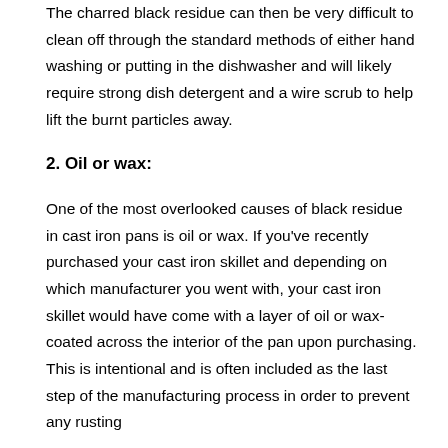The charred black residue can then be very difficult to clean off through the standard methods of either hand washing or putting in the dishwasher and will likely require strong dish detergent and a wire scrub to help lift the burnt particles away.
2. Oil or wax:
One of the most overlooked causes of black residue in cast iron pans is oil or wax. If you've recently purchased your cast iron skillet and depending on which manufacturer you went with, your cast iron skillet would have come with a layer of oil or wax-coated across the interior of the pan upon purchasing. This is intentional and is often included as the last step of the manufacturing process in order to prevent any rusting